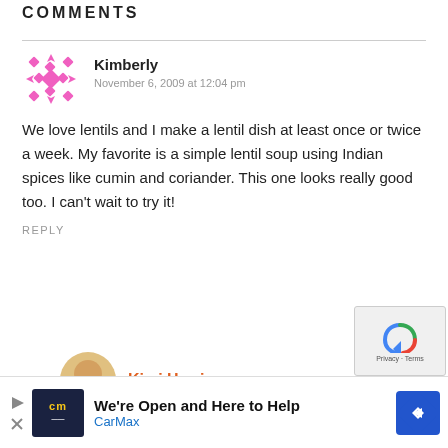COMMENTS
Kimberly
November 6, 2009 at 12:04 pm
We love lentils and I make a lentil dish at least once or twice a week. My favorite is a simple lentil soup using Indian spices like cumin and coriander. This one looks really good too. I can't wait to try it!
REPLY
Kimi Harris
[Figure (infographic): CarMax advertisement banner: 'We're Open and Here to Help' with CarMax logo]